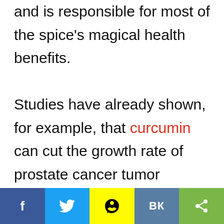and is responsible for most of the spice's magical health benefits. Studies have already shown, for example, that curcumin can cut the growth rate of prostate cancer tumor progression in half. Other studies have found that supplementing with curcumin can lead to a 36 percent decline in lung tumor size and a 40 percent reduction in colon tumor...
Social share bar: Facebook, Twitter, Snapchat, VK, Share